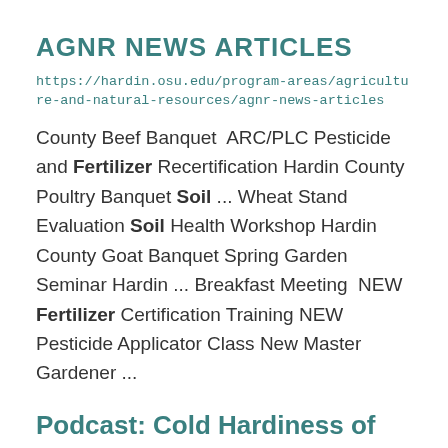AGNR NEWS ARTICLES
https://hardin.osu.edu/program-areas/agriculture-and-natural-resources/agnr-news-articles
County Beef Banquet  ARC/PLC Pesticide and Fertilizer Recertification Hardin County Poultry Banquet Soil ... Wheat Stand Evaluation Soil Health Workshop Hardin County Goat Banquet Spring Garden Seminar Hardin ... Breakfast Meeting  NEW Fertilizer Certification Training NEW Pesticide Applicator Class New Master Gardener ...
Podcast: Cold Hardiness of